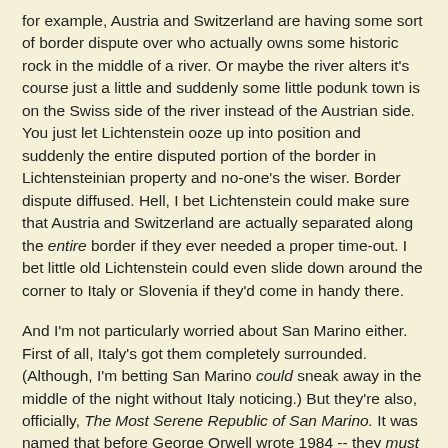for example, Austria and Switzerland are having some sort of border dispute over who actually owns some historic rock in the middle of a river.  Or maybe the river alters it's course just a little and suddenly some little podunk town is on the Swiss side of the river instead of the Austrian side.  You just let Lichtenstein ooze up into position and suddenly the entire disputed portion of the border in Lichtensteinian property and no-one's the wiser.  Border dispute diffused.  Hell, I bet Lichtenstein could make sure that Austria and Switzerland are actually separated along the entire border if they ever needed a proper time-out.  I bet little old Lichtenstein could even slide down around the corner to Italy or Slovenia if they'd come in handy there.
And I'm not particularly worried about San Marino either.  First of all, Italy's got them completely surrounded.  (Although, I'm betting San Marino could sneak away in the middle of the night without Italy noticing.)  But they're also, officially, The Most Serene Republic of San Marino.  It was named that before George Orwell wrote 1984 -- they must be telling the truth.